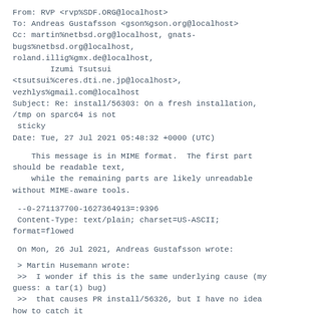From: RVP <rvp%SDF.ORG@localhost>
To: Andreas Gustafsson <gson%gson.org@localhost>
Cc: martin%netbsd.org@localhost, gnats-bugs%netbsd.org@localhost,
roland.illig%gmx.de@localhost,
        Izumi Tsutsui
<tsutsui%ceres.dti.ne.jp@localhost>,
vezhlys%gmail.com@localhost
Subject: Re: install/56303: On a fresh installation,
/tmp on sparc64 is not
 sticky
Date: Tue, 27 Jul 2021 05:48:32 +0000 (UTC)
This message is in MIME format.  The first part
should be readable text,
    while the remaining parts are likely unreadable
without MIME-aware tools.
--0-271137700-1627364913=:9396
 Content-Type: text/plain; charset=US-ASCII;
format=flowed
On Mon, 26 Jul 2021, Andreas Gustafsson wrote:
> Martin Husemann wrote:
 >>  I wonder if this is the same underlying cause (my
guess: a tar(1) bug)
 >>  that causes PR install/56326, but I have no idea
how to catch it